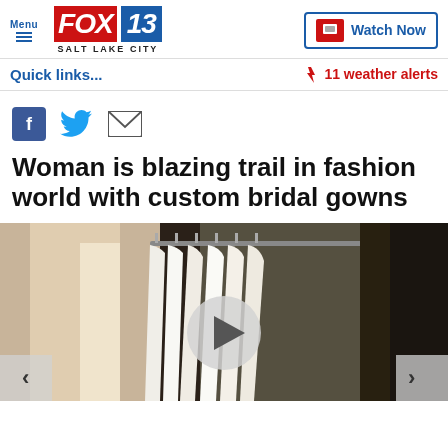Menu | FOX 13 SALT LAKE CITY | Watch Now
Quick links...
⚡ 11 weather alerts
Woman is blazing trail in fashion world with custom bridal gowns
[Figure (photo): Bridal gowns hanging on a rack in a boutique, with a video play button overlay and left/right navigation arrows]